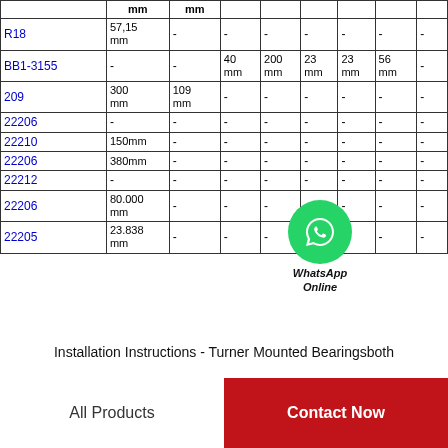|  | mm | mm |  |  |  |  |  |  |
| --- | --- | --- | --- | --- | --- | --- | --- | --- |
| R18 | 57,15 mm | - | - | - | - | - | - | - |
| BB1-3155 | - | - | 40 mm | 200 mm | 23 mm | 23 mm | 56 mm | - |
| 209 | 300 mm | 109 mm | - | - | - | - | - | - |
| 22206 | - | - | - | - | - | - | - | - |
| 22210 | 150mm | - | - | - | - | - | - | - |
| 22206 | 380mm | - | - | - | - | - | - | - |
| 22212 | - | - | - | - | - | - | - | - |
| 22206 | 80.000 mm | - | - | - | - | - | - | - |
| 22205 | 23.838 mm | - | - | - | - | - | - | - |
Installation Instructions - Turner Mounted Bearingsboth
All Products
Contact Now